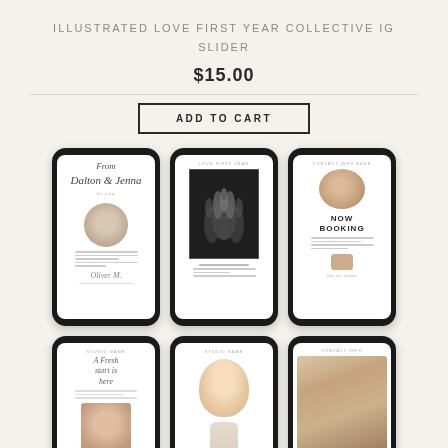ILLUSTRATED LOVE FIRST YEAR COLLECTIVE IG SLIDER
$15.00
ADD TO CART
[Figure (photo): Six smartphone mockups arranged in two rows of three, each displaying different Instagram story slider templates for newborn/baby photography. Top row: (1) cursive script name with circular newborn photo; (2) black and white photo of hands holding; (3) 'Now Booking' template with circular baby photo. Bottom row: (4) script text with placeholder lines; (5) baby face portrait; (6) close-up newborn photo.]